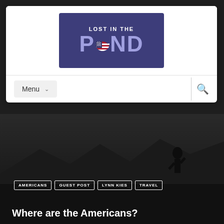[Figure (logo): Lost in the Pond logo — dark purple/indigo background with text 'LOST IN THE POND' in white and metallic blue-purple letters, with a US flag circle replacing the letter O in POND]
Menu
[Figure (illustration): Dark background with silhouette figures of people on rocks against a moody sky]
AMERICANS | GUEST POST | LYNN KIES | TRAVEL
Where are the Americans?